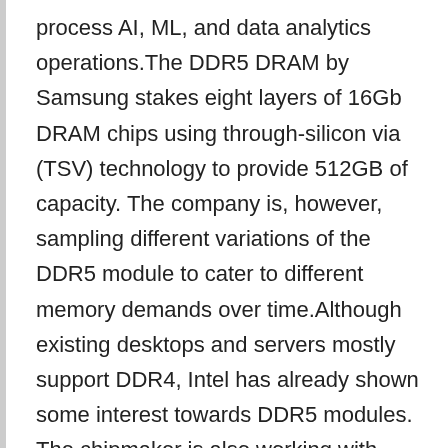process AI, ML, and data analytics operations.The DDR5 DRAM by Samsung stakes eight layers of 16Gb DRAM chips using through-silicon via (TSV) technology to provide 512GB of capacity. The company is, however, sampling different variations of the DDR5 module to cater to different memory demands over time.Although existing desktops and servers mostly support DDR4, Intel has already shown some interest towards DDR5 modules. The chipmaker is also working with Samsung particularly for its new development.“Intel’s engineering teams closely partner with memory leaders like Samsung to deliver fast, power-efficient DDR5 memory that is performance-optimised and compatible with our upcoming Intel Xeon Scalable processors, codenamed